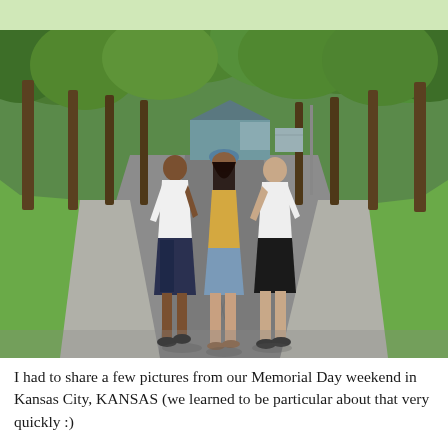[Figure (photo): Three young people walking away from the camera down the middle of a quiet suburban street lined with large green trees. The person on the left wears a white t-shirt and patterned shorts; the person in the center wears a blue cap, yellow top, and denim cut-off shorts; the person on the right wears a white t-shirt and black shorts. Green lawns and a ranch-style house are visible in the background.]
I had to share a few pictures from our Memorial Day weekend in Kansas City, KANSAS (we learned to be particular about that very quickly :)